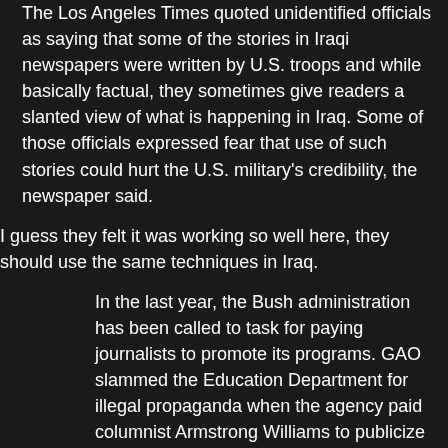The Los Angeles Times quoted unidentified officials as saying that some of the stories in Iraqi newspapers were written by U.S. troops and while basically factual, they sometimes give readers a slanted view of what is happening in Iraq. Some of those officials expressed fear that use of such stories could hurt the U.S. military's credibility, the newspaper said.
I guess they felt it was working so well here, they should use the same techniques in Iraq.
In the last year, the Bush administration has been called to task for paying journalists to promote its programs. GAO slammed the Education Department for illegal propaganda when the agency paid columnist Armstrong Williams to publicize the "No Child Left Behind" education law.
And the GAO is looking into the Heath and Human Services Department's contract with syndicated columnist Maggie Gallagher to help